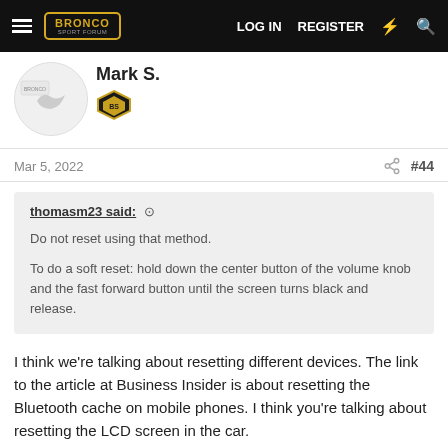BRONCO SPORT FORUM — LOG IN  REGISTER
Mark S.
Mar 5, 2022   #44
thomasm23 said:
Do not reset using that method.
To do a soft reset: hold down the center button of the volume knob and the fast forward button until the screen turns black and release.
I think we're talking about resetting different devices. The link to the article at Business Insider is about resetting the Bluetooth cache on mobile phones. I think you're talking about resetting the LCD screen in the car.